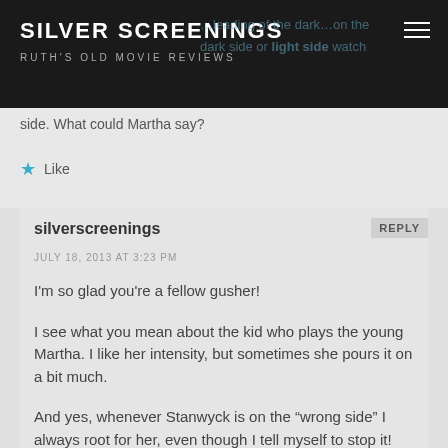SILVER SCREENINGS
RUTH'S OLD MOVIE REVIEWS
side. What could Martha say?
Like
silverscreenings
JULY 18, 2013 AT 3:23 PM
I'm so glad you're a fellow gusher!
I see what you mean about the kid who plays the young Martha. I like her intensity, but sometimes she pours it on a bit much.
And yes, whenever Stanwyck is on the “wrong side” I always root for her, even though I tell myself to stop it!